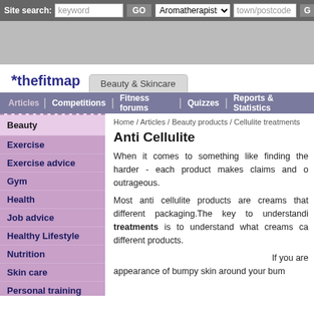Site search: keyword GO | Aromatherapists ▼ | town/postcode GO
[Figure (other): Grey advertisement banner area]
[Figure (logo): thefitmap logo with asterisk star and Beauty & Skincare tab]
Articles | Competitions | Fitness forums | Quizzes | Reports & Statistics
Beauty
Exercise
Exercise advice
Gym
Health
Job advice
Healthy Lifestyle
Nutrition
Skin care
Personal training
Vitamins & minerals
Weight loss
Home / Articles / Beauty products / Cellulite treatments
Anti Cellulite
When it comes to something like finding the harder - each product makes claims and outrageous.
Most anti cellulite products are creams that different packaging.The key to understanding treatments is to understand what creams can different products.
If you are appearance of bumpy skin around your bum